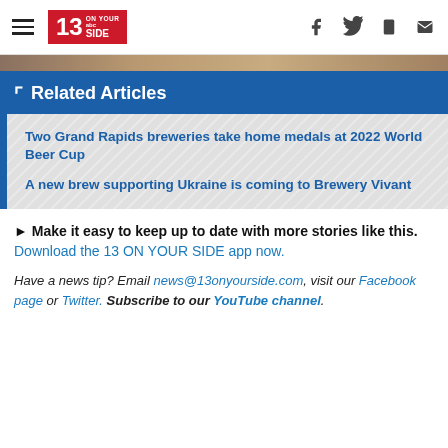13 ON YOUR SIDE — navigation header with social icons
Related Articles
Two Grand Rapids breweries take home medals at 2022 World Beer Cup
A new brew supporting Ukraine is coming to Brewery Vivant
► Make it easy to keep up to date with more stories like this. Download the 13 ON YOUR SIDE app now.
Have a news tip? Email news@13onyourside.com, visit our Facebook page or Twitter. Subscribe to our YouTube channel.